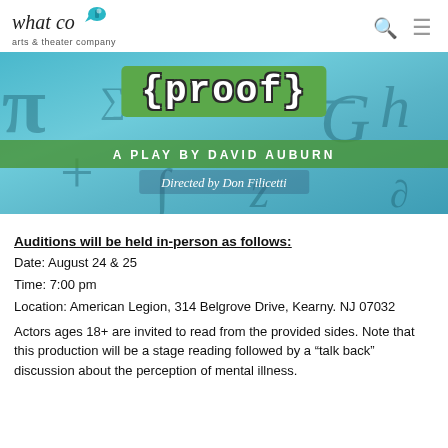what co arts & theater company
[Figure (photo): Promotional banner for the play '{proof}' — A Play by David Auburn, Directed by Don Filicetti. Teal/blue background with mathematical symbols, green box containing the title in curly braces.]
Auditions will be held in-person as follows:
Date: August 24 & 25
Time: 7:00 pm
Location: American Legion, 314 Belgrove Drive, Kearny. NJ 07032
Actors ages 18+ are invited to read from the provided sides. Note that this production will be a stage reading followed by a "talk back" discussion about the perception of mental illness.